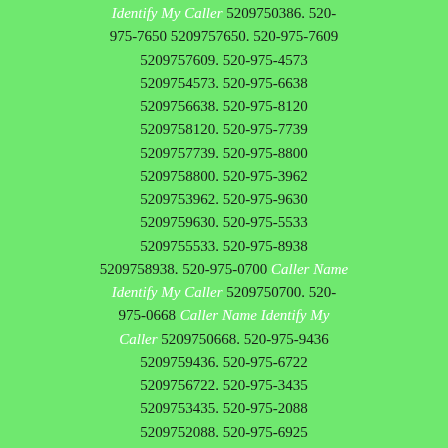Identify My Caller 5209750386. 520-975-7650 5209757650. 520-975-7609 5209757609. 520-975-4573 5209754573. 520-975-6638 5209756638. 520-975-8120 5209758120. 520-975-7739 5209757739. 520-975-8800 5209758800. 520-975-3962 5209753962. 520-975-9630 5209759630. 520-975-5533 5209755533. 520-975-8938 5209758938. 520-975-0700 Caller Name Identify My Caller 5209750700. 520-975-0668 Caller Name Identify My Caller 5209750668. 520-975-9436 5209759436. 520-975-6722 5209756722. 520-975-3435 5209753435. 520-975-2088 5209752088. 520-975-6925 5209756925. 520-975-6849 5209756849. 520-975-3702 5209753702. 520-975-0092 5209750092. 520-975-7902 5209757902. 520-975-9135 5209759135. 520-975-7301